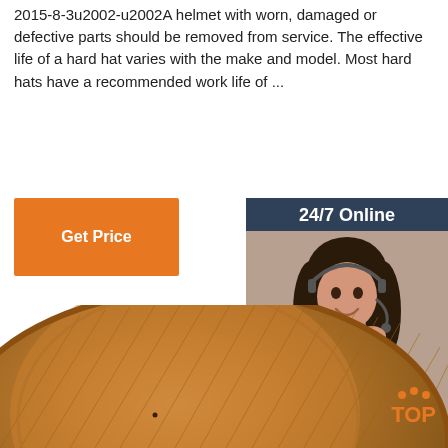2015-8-3u2002-u2002A helmet with worn, damaged or defective parts should be removed from service. The effective life of a hard hat varies with the make and model. Most hard hats have a recommended work life of ...
[Figure (other): Orange 'Get Price' button]
[Figure (other): 24/7 Online chat widget with woman wearing headset, 'Click here for free chat!' text, and orange QUOTATION button on dark navy background]
[Figure (photo): Close-up photo of a tan/brown corduroy hard hat viewed from above]
[Figure (other): Orange 'TOP' back-to-top button with dots above it]